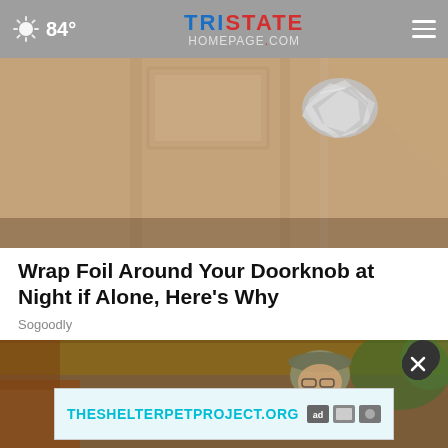84° — Tristate Homepage.com
[Figure (photo): Close-up photo of a wooden door with aluminum foil wrapped around the doorknob]
Wrap Foil Around Your Doorknob at Night if Alone, Here's Why
Sogoodly
[Figure (photo): Photo of a soldier in camouflage with a video popup and ad overlay showing THESHELTERPETPROJECT.ORG]